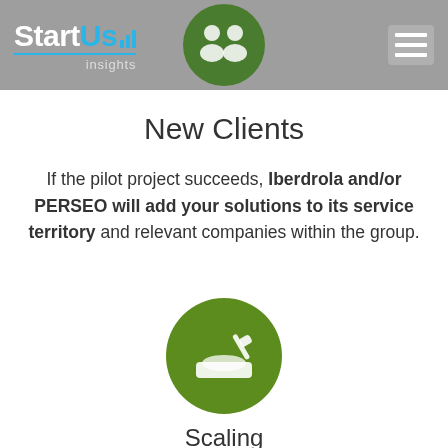StartUs Insights
New Clients
If the pilot project succeeds, Iberdrola and/or PERSEO will add your solutions to its service territory and relevant companies within the group.
[Figure (illustration): Green circle icon with a sandbox/shovel illustration, representing Scaling]
Scaling